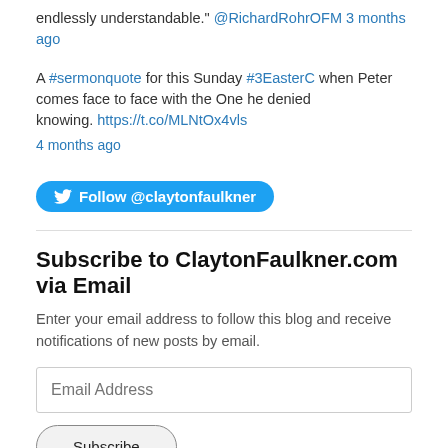endlessly understandable." @RichardRohrOFM 3 months ago
A #sermonquote for this Sunday #3EasterC when Peter comes face to face with the One he denied knowing. https://t.co/MLNtOx4vls 4 months ago
[Figure (other): Twitter Follow button: Follow @claytonfaulkner]
Subscribe to ClaytonFaulkner.com via Email
Enter your email address to follow this blog and receive notifications of new posts by email.
Email Address
Subscribe
Join 600 other followers